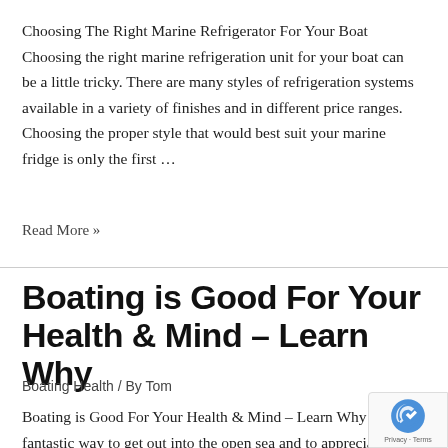Choosing The Right Marine Refrigerator For Your Boat Choosing the right marine refrigeration unit for your boat can be a little tricky. There are many styles of refrigeration systems available in a variety of finishes and in different price ranges. Choosing the proper style that would best suit your marine fridge is only the first ...
Read More »
Boating is Good For Your Health & Mind – Learn Why
Boating Health / By Tom
Boating is Good For Your Health & Mind – Learn Why Boa fantastic way to get out into the open sea and to appreciat wonders of Mother Nature. Many people take boating seriously &